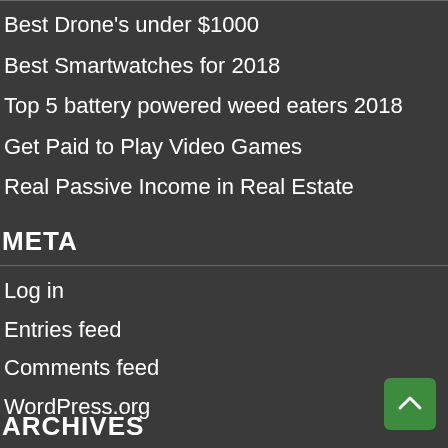Best Drone's under $1000
Best Smartwatches for 2018
Top 5 battery powered weed eaters 2018
Get Paid to Play Video Games
Real Passive Income in Real Estate
META
Log in
Entries feed
Comments feed
WordPress.org
ARCHIVES